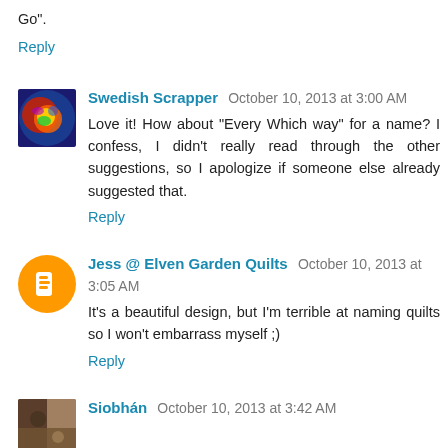Go".
Reply
Swedish Scrapper  October 10, 2013 at 3:00 AM
Love it! How about "Every Which way" for a name? I confess, I didn't really read through the other suggestions, so I apologize if someone else already suggested that.
Reply
Jess @ Elven Garden Quilts  October 10, 2013 at 3:05 AM
It's a beautiful design, but I'm terrible at naming quilts so I won't embarrass myself ;)
Reply
Siobhán  October 10, 2013 at 3:42 AM